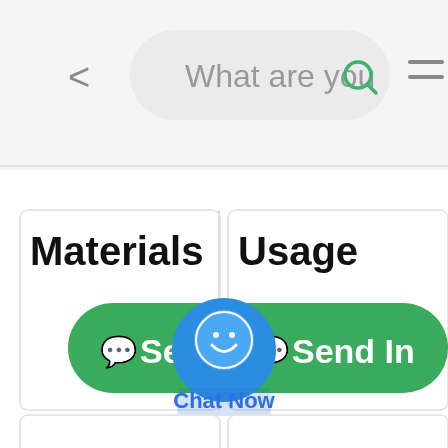[Figure (screenshot): Mobile app screenshot showing a search bar at the top with back arrow, search icon, and hamburger menu. Below are two column headers: Materials and Usage. A green Send Inquiry button bar spans both columns. A blue chat bubble icon labeled Chat Now floats in the center. Below are two empty white card panels.]